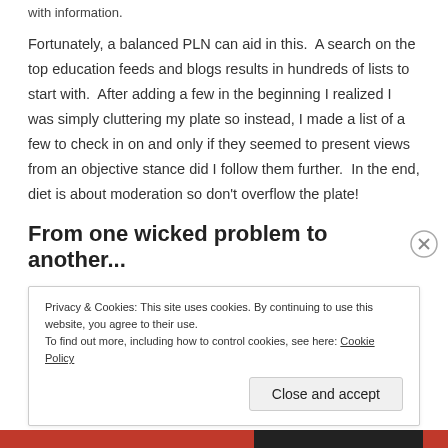with information.
Fortunately, a balanced PLN can aid in this.  A search on the top education feeds and blogs results in hundreds of lists to start with.  After adding a few in the beginning I realized I was simply cluttering my plate so instead, I made a list of a few to check in on and only if they seemed to present views from an objective stance did I follow them further.  In the end, diet is about moderation so don't overflow the plate!
From one wicked problem to another...
Privacy & Cookies: This site uses cookies. By continuing to use this website, you agree to their use.
To find out more, including how to control cookies, see here: Cookie Policy
Close and accept